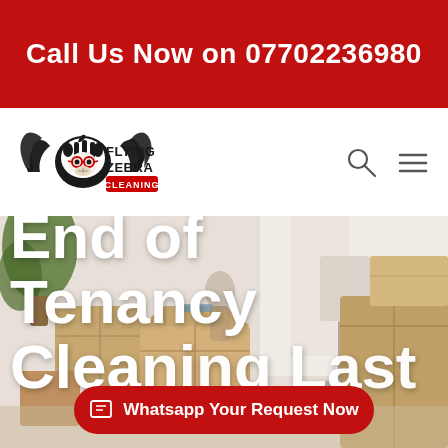Call Us Now on 07702236980
[Figure (logo): Flying Zebra Cleaning logo with winged zebra mascot wearing glasses]
[Figure (photo): Moving boxes scene used as hero background for End of Tenancy Cleaning service page]
End of Tenancy Cleaning Last
Whatsapp Your Request Now